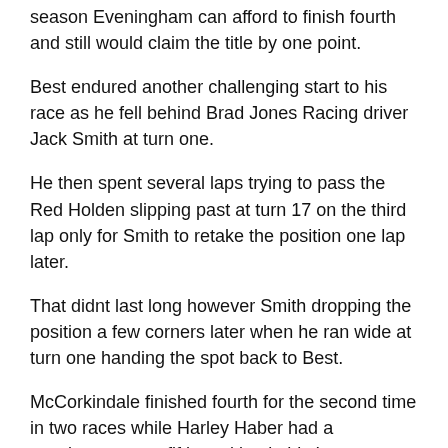season Eveningham can afford to finish fourth and still would claim the title by one point.
Best endured another challenging start to his race as he fell behind Brad Jones Racing driver Jack Smith at turn one.
He then spent several laps trying to pass the Red Holden slipping past at turn 17 on the third lap only for Smith to retake the position one lap later.
That didnt last long however Smith dropping the position a few corners later when he ran wide at turn one handing the spot back to Best.
McCorkindale finished fourth for the second time in two races while Harley Haber had a consistent run to fifth position in his Image Racing Falcon.
Michael Anderson Garry Hills Mark Tracey Maxim Erickson and Adam Wallis completed the top-10 while